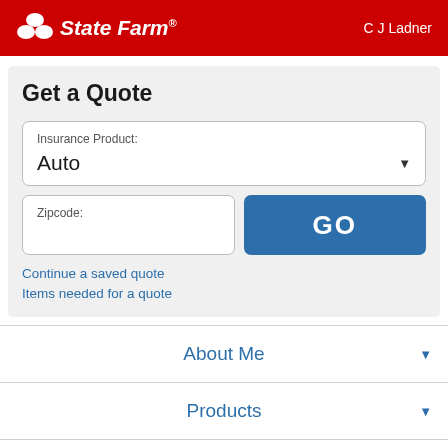State Farm — C J Ladner
Get a Quote
Insurance Product: Auto
Zipcode:
GO
Continue a saved quote
Items needed for a quote
About Me
Products
Office Hours